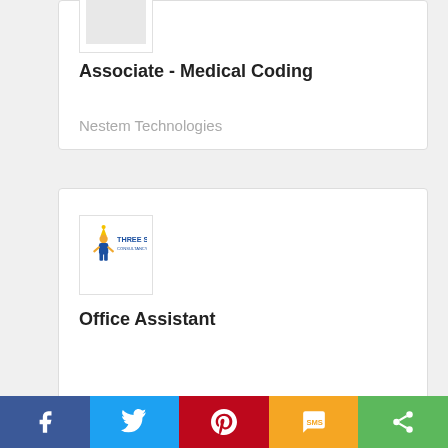[Figure (logo): Company logo placeholder (top card)]
Associate - Medical Coding
Nestem Technologies
[Figure (logo): Three Star Consultancy Services logo]
Office Assistant
Three Star Consultancy Services
[Figure (other): Social share bar with Facebook, Twitter, Pinterest, SMS, Share buttons]